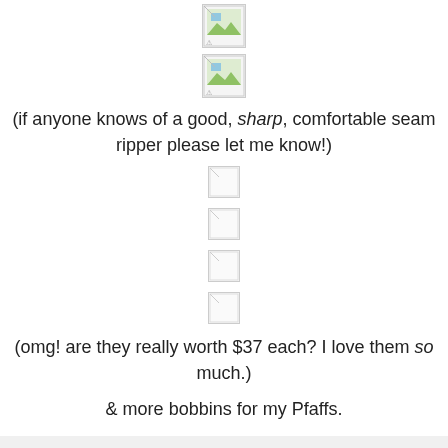[Figure (photo): Broken/missing image placeholder at top]
[Figure (photo): Broken/missing image placeholder, second]
(if anyone knows of a good, sharp, comfortable seam ripper please let me know!)
[Figure (photo): Broken/missing image placeholder, third]
[Figure (photo): Broken/missing image placeholder, fourth]
[Figure (photo): Broken/missing image placeholder, fifth]
[Figure (photo): Broken/missing image placeholder, sixth]
(omg! are they really worth $37 each? I love them so much.)
& more bobbins for my Pfaffs.
courtney.janelle.sews at 6:14 PM   No comments: